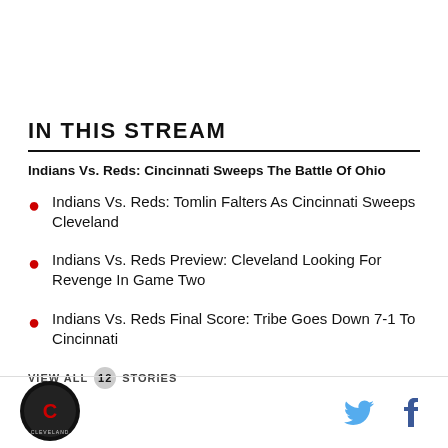IN THIS STREAM
Indians Vs. Reds: Cincinnati Sweeps The Battle Of Ohio
Indians Vs. Reds: Tomlin Falters As Cincinnati Sweeps Cleveland
Indians Vs. Reds Preview: Cleveland Looking For Revenge In Game Two
Indians Vs. Reds Final Score: Tribe Goes Down 7-1 To Cincinnati
VIEW ALL 12 STORIES
[Figure (logo): SB Nation Cleveland logo — circular dark badge with C letter]
[Figure (logo): Twitter bird icon in blue and Facebook f icon in blue]